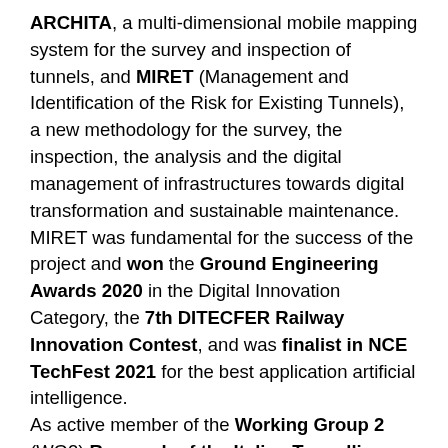ARCHITA, a multi-dimensional mobile mapping system for the survey and inspection of tunnels, and MIRET (Management and Identification of the Risk for Existing Tunnels), a new methodology for the survey, the inspection, the analysis and the digital management of infrastructures towards digital transformation and sustainable maintenance. MIRET was fundamental for the success of the project and won the Ground Engineering Awards 2020 in the Digital Innovation Category, the 7th DITECFER Railway Innovation Contest, and was finalist in NCE TechFest 2021 for the best application artificial intelligence. As active member of the Working Group 2 (WG2) Research of the Italian Tunnelling Association (SIG), Federico was able to overcome the lack of standards for the categorisation of defects in mechanised tunnels. Apart from his expertise, Federico proved to be an